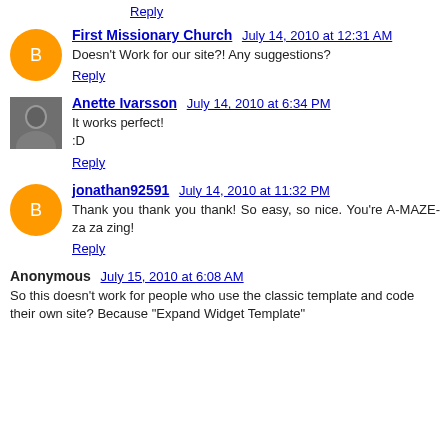Reply
First Missionary Church  July 14, 2010 at 12:31 AM
Doesn't Work for our site?! Any suggestions?
Reply
Anette Ivarsson  July 14, 2010 at 6:34 PM
It works perfect!
:D
Reply
jonathan92591  July 14, 2010 at 11:32 PM
Thank you thank you thank! So easy, so nice. You're A-MAZE-za za zing!
Reply
Anonymous  July 15, 2010 at 6:08 AM
So this doesn't work for people who use the classic template and code their own site? Because "Expand Widget Template"